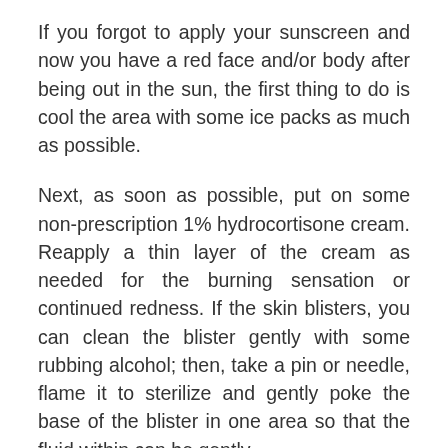If you forgot to apply your sunscreen and now you have a red face and/or body after being out in the sun, the first thing to do is cool the area with some ice packs as much as possible.
Next, as soon as possible, put on some non-prescription 1% hydrocortisone cream. Reapply a thin layer of the cream as needed for the burning sensation or continued redness. If the skin blisters, you can clean the blister gently with some rubbing alcohol; then, take a pin or needle, flame it to sterilize and gently poke the base of the blister in one area so that the fluid within can be gently